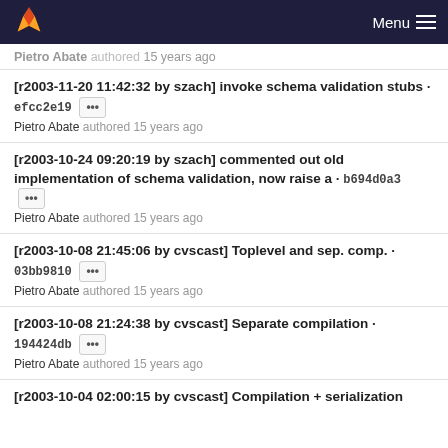GitLab — Menu
Pietro Abate authored 15 years ago
[r2003-11-20 11:42:32 by szach] invoke schema validation stubs · efcc2e19 ···
Pietro Abate authored 15 years ago
[r2003-10-24 09:20:19 by szach] commented out old implementation of schema validation, now raise a · b694d0a3 ···
Pietro Abate authored 15 years ago
[r2003-10-08 21:45:06 by cvscast] Toplevel and sep. comp. · 03bb9810 ···
Pietro Abate authored 15 years ago
[r2003-10-08 21:24:38 by cvscast] Separate compilation · 194424db ···
Pietro Abate authored 15 years ago
[r2003-10-04 02:00:15 by cvscast] Compilation + serialization